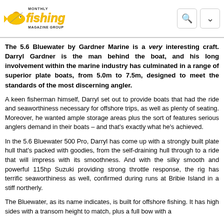fishing MONTHLY MAGAZINE GROUP
The 5.6 Bluewater by Gardner Marine is a very interesting craft. Darryl Gardner is the man behind the boat, and his long involvement within the marine industry has culminated in a range of superior plate boats, from 5.0m to 7.5m, designed to meet the standards of the most discerning angler.
A keen fisherman himself, Darryl set out to provide boats that had the ride and seaworthiness necessary for offshore trips, as well as plenty of seating. Moreover, he wanted ample storage areas plus the sort of features serious anglers demand in their boats – and that's exactly what he's achieved.
In the 5.6 Bluewater 500 Pro, Darryl has come up with a strongly built plate hull that's packed with goodies, from the self-draining hull through to a ride that will impress with its smoothness. And with the silky smooth and powerful 115hp Suzuki providing strong throttle response, the rig has terrific seaworthiness as well, confirmed during runs at Bribie Island in a stiff northerly.
The Bluewater, as its name indicates, is built for offshore fishing. It has high sides with a transom height to match, plus a full bow with a